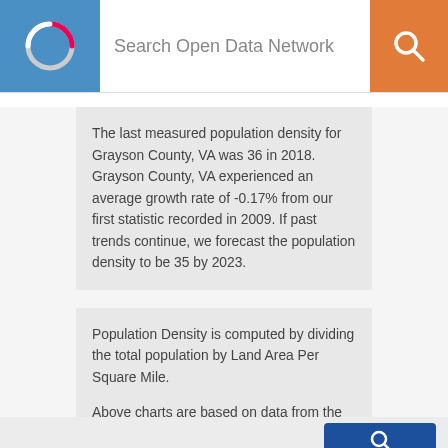Search Open Data Network
The last measured population density for Grayson County, VA was 36 in 2018. Grayson County, VA experienced an average growth rate of -0.17% from our first statistic recorded in 2009. If past trends continue, we forecast the population density to be 35 by 2023.
Population Density is computed by dividing the total population by Land Area Per Square Mile.

Above charts are based on data from the U.S. Census American Community Survey | ODN Dataset | API -